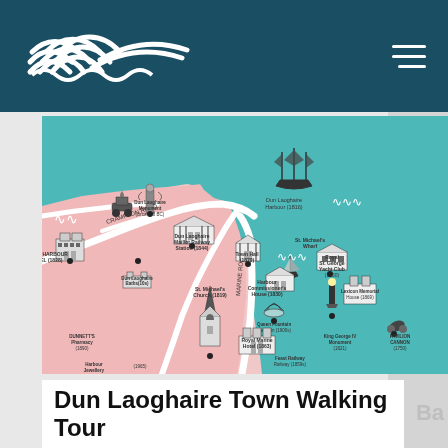Dun Laoghaire Walking Tour website header with logo and navigation
[Figure (map): Illustrated tourist map of Dun Laoghaire town showing harbour, landmarks, streets and decorative illustrations of buildings, a sailing ship, and points of interest including Royal Harbour Hotel, Dun Laoghaire Mailbox Railway Station, Town Hall (1879), Royal St. George Yacht Club (1850), St. Michael's Church (1819), and many others. Map uses teal/turquoise for water and pink/light rose for land areas with white street paths.]
Dun Laoghaire Town Walking Tour